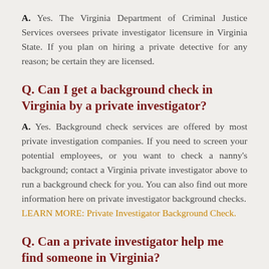A. Yes. The Virginia Department of Criminal Justice Services oversees private investigator licensure in Virginia State. If you plan on hiring a private detective for any reason; be certain they are licensed.
Q. Can I get a background check in Virginia by a private investigator?
A. Yes. Background check services are offered by most private investigation companies. If you need to screen your potential employees, or you want to check a nanny's background; contact a Virginia private investigator above to run a background check for you. You can also find out more information here on private investigator background checks. LEARN MORE: Private Investigator Background Check.
Q. Can a private investigator help me find someone in Virginia?